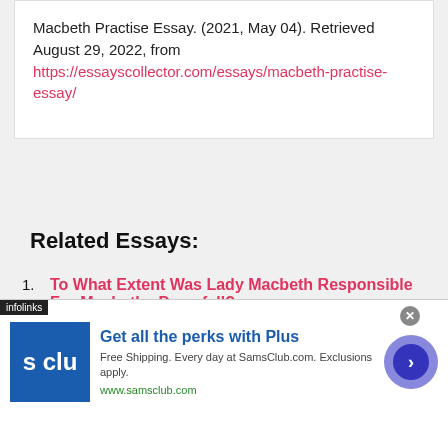Macbeth Practise Essay. (2021, May 04). Retrieved August 29, 2022, from https://essayscollector.com/essays/macbeth-practise-essay/
Related Essays:
To What Extent Was Lady Macbeth Responsible For Macbeths Downfall?
“Macbeth” Explores Ambition And Its Consequences
[Figure (screenshot): Advertisement banner for Sam's Club Plus membership: 'Get all the perks with Plus. Free Shipping. Every day at SamsClub.com. Exclusions apply. www.samsclub.com']